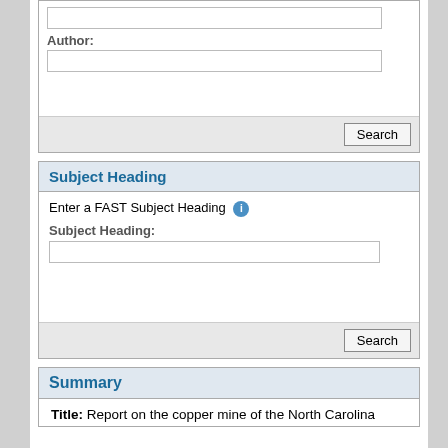Author:
[Figure (screenshot): Author input field (empty text box)]
[Figure (screenshot): Search button in gray bar]
Subject Heading
Enter a FAST Subject Heading
Subject Heading:
[Figure (screenshot): Subject Heading input field (empty text box)]
[Figure (screenshot): Search button in gray bar]
Summary
Title: Report on the copper mine of the North Carolina